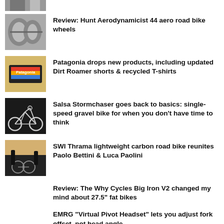[Figure (photo): Partial thumbnail of an image at the top]
Review: Hunt Aerodynamicist 44 aero road bike wheels
[Figure (photo): Patagonia store sign thumbnail]
Patagonia drops new products, including updated Dirt Roamer shorts & recycled T-shirts
[Figure (photo): Salsa Stormchaser bicycle thumbnail]
Salsa Stormchaser goes back to basics: single-speed gravel bike for when you don’t have time to think
[Figure (photo): Two people with a road bike thumbnail]
SWI Thrama lightweight carbon road bike reunites Paolo Bettini & Luca Paolini
Review: The Why Cycles Big Iron V2 changed my mind about 27.5” fat bikes
EMRG “Virtual Pivot Headset” lets you adjust fork offset, not head angle